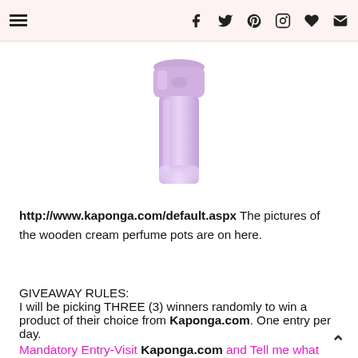Navigation header with menu icon and social icons: f (Facebook), Twitter, Pinterest, Instagram, heart, envelope
[Figure (photo): Partial view of a purple/lavender cream perfume tube/bottle product against a white background]
http://www.kaponga.com/default.aspx The pictures of the wooden cream perfume pots are on here.
GIVEAWAY RULES:
I will be picking THREE (3) winners randomly to win a product of their choice from Kaponga.com. One entry per day.
Mandatory Entry-Visit Kaponga.com and Tell me what you would choose if you won!
Bonus Entry: Follow me on Twitter, RSS, Email Feed, Or...